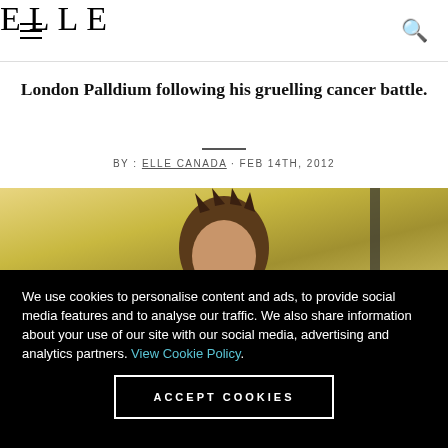ELLE
London Palldium following his gruelling cancer battle.
BY : ELLE CANADA · FEB 14TH, 2012
[Figure (photo): Photo of a person with dark spiked hair in front of a colorful background]
We use cookies to personalise content and ads, to provide social media features and to analyse our traffic. We also share information about your use of our site with our social media, advertising and analytics partners. View Cookie Policy.
ACCEPT COOKIES